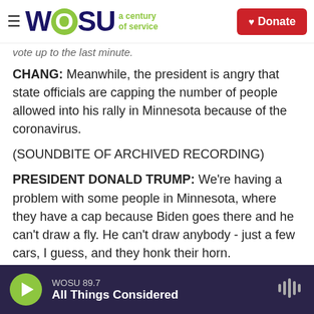WOSU a century of service | Donate
vote up to the last minute.
CHANG: Meanwhile, the president is angry that state officials are capping the number of people allowed into his rally in Minnesota because of the coronavirus.
(SOUNDBITE OF ARCHIVED RECORDING)
PRESIDENT DONALD TRUMP: We're having a problem with some people in Minnesota, where they have a cap because Biden goes there and he can't draw a fly. He can't draw anybody - just a few cars, I guess, and they honk their horn.
WOSU 89.7 All Things Considered